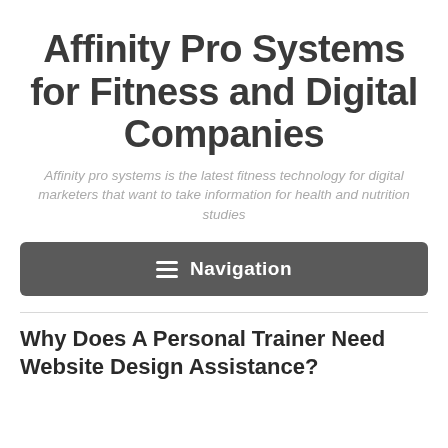Affinity Pro Systems for Fitness and Digital Companies
Affinity pro systems is the latest fitness technology for digital marketers that want to take information for health and nutrition studies
[Figure (other): Dark gray navigation bar button with hamburger menu icon and the word Navigation in white text]
Why Does A Personal Trainer Need Website Design Assistance?